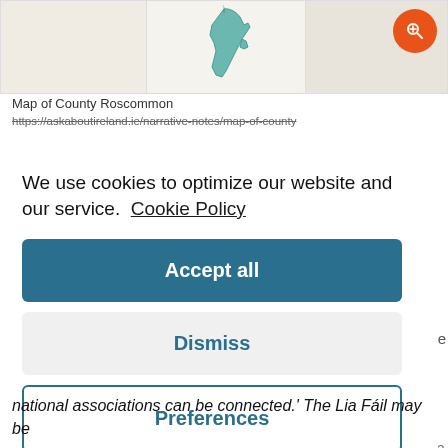[Figure (map): Map of County Roscommon split across three panels showing geographic outline]
Map of County Roscommon
https://askaboutireland.ie/narrative-notes/map-of-county
We use cookies to optimize our website and our service.  Cookie Policy
Accept all
Dismiss
Preferences
national associations can be connected.' The Lia Fáil may be